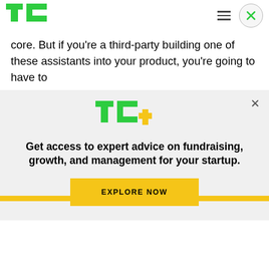TechCrunch header with logo, hamburger menu, and close button
core. But if you're a third-party building one of these assistants into your product, you're going to have to
[Figure (logo): TC+ logo with green TC and yellow plus sign]
Get access to expert advice on fundraising, growth, and management for your startup.
EXPLORE NOW